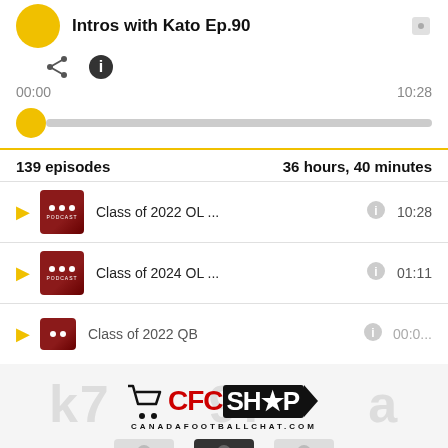Intros with Kato Ep.90
00:00    10:28
139 episodes    36 hours, 40 minutes
Class of 2022 OL ...   10:28
Class of 2024 OL ...   01:11
Class of 2022 QB   00:0...
[Figure (logo): CFC SHOP logo with shopping cart icon and text CANADAFOOTBALLCHAT.COM]
[Figure (photo): Three product photos showing apparel items]